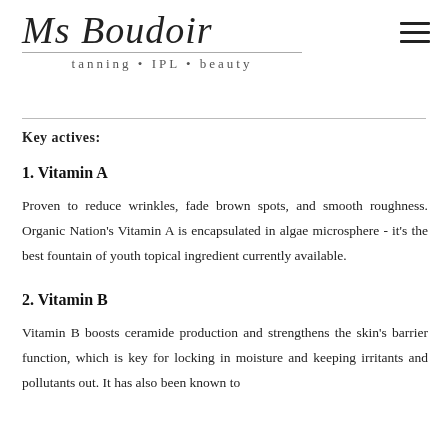Ms Boudoir
tanning • IPL • beauty
Key actives:
1. Vitamin A
Proven to reduce wrinkles, fade brown spots, and smooth roughness. Organic Nation's Vitamin A is encapsulated in algae microsphere - it's the best fountain of youth topical ingredient currently available.
2. Vitamin B
Vitamin B boosts ceramide production and strengthens the skin's barrier function, which is key for locking in moisture and keeping irritants and pollutants out. It has also been known to